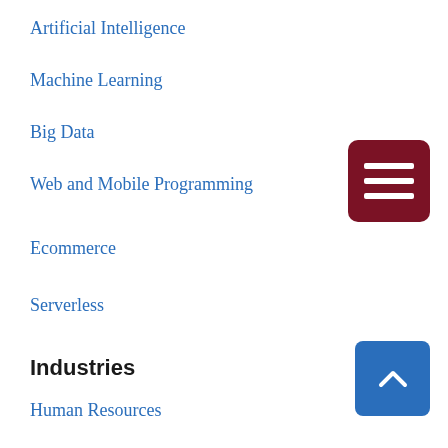Artificial Intelligence
Machine Learning
Big Data
Web and Mobile Programming
Ecommerce
Serverless
Industries
Human Resources
Sales and Marketing
Automobile
Chemical and Biotechnology
Education
[Figure (other): Dark red hamburger/menu button icon with three white horizontal bars]
[Figure (other): Blue scroll-to-top button with upward chevron arrow]